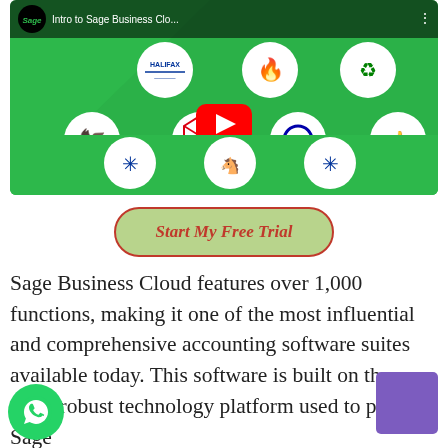[Figure (screenshot): YouTube video thumbnail for 'Intro to Sage Business Clo...' showing Sage logo, various UK bank logos (Halifax, Santander, Barclays, HSBC, Lloyds, etc.) on green background with YouTube play button in center]
Start My Free Trial
Sage Business Cloud features over 1,000 functions, making it one of the most influential and comprehensive accounting software suites available today. This software is built on the same robust technology platform used to power Sage